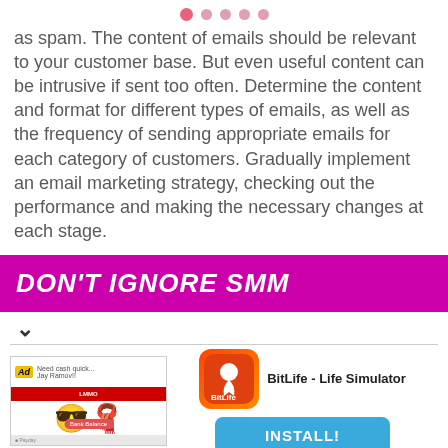[Figure (other): Page indicator dots, one active (pink/red) and four inactive (light pink)]
as spam. The content of emails should be relevant to your customer base. But even useful content can be intrusive if sent too often. Determine the content and format for different types of emails, as well as the frequency of sending appropriate emails for each category of customers. Gradually implement an email marketing strategy, checking out the performance and making the necessary changes at each stage.
DON'T IGNORE SMM
[Figure (other): Chevron/collapse arrow icon]
[Figure (screenshot): BitLife - Life Simulator app advertisement with install button]